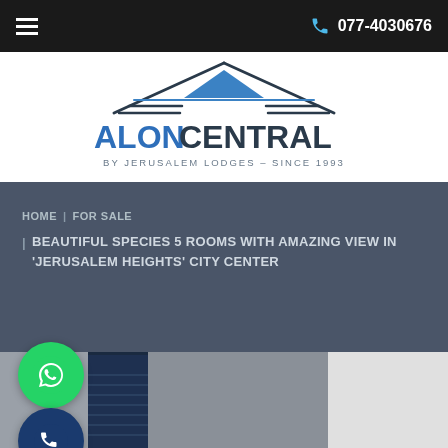077-4030676
[Figure (logo): AlonCentral logo — stylized house/roof icon above the text 'ALONCENTRAL BY JERUSALEM LODGES – SINCE 1993']
HOME | FOR SALE | BEAUTIFUL SPECIES 5 ROOMS WITH AMAZING VIEW IN 'JERUSALEM HEIGHTS' CITY CENTER
[Figure (photo): Interior room photo showing a doorway/window with blue blinds and grey walls, partially visible]